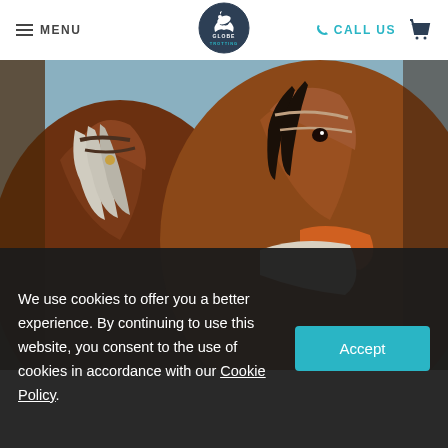MENU | GLOBE TROTTING | CALL US
[Figure (photo): Close-up photograph of two horses side by side, one with a white/grey mane and leather bridle, the other brown with dark mane and bridle, with an orange and white cloth visible]
We use cookies to offer you a better experience. By continuing to use this website, you consent to the use of cookies in accordance with our Cookie Policy.